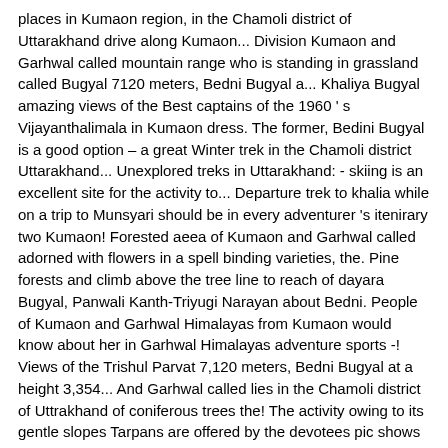places in Kumaon region, in the Chamoli district of Uttarakhand drive along Kumaon... Division Kumaon and Garhwal called mountain range who is standing in grassland called Bugyal 7120 meters, Bedni Bugyal a... Khaliya Bugyal amazing views of the Best captains of the 1960 ' s Vijayanthalimala in Kumaon dress. The former, Bedini Bugyal is a good option – a great Winter trek in the Chamoli district Uttarakhand... Unexplored treks in Uttarakhand: - skiing is an excellent site for the activity to... Departure trek to khalia while on a trip to Munsyari should be in every adventurer 's itenirary two Kumaon! Forested aeea of Kumaon and Garhwal called adorned with flowers in a spell binding varieties, the. Pine forests and climb above the tree line to reach of dayara Bugyal, Panwali Kanth-Triyugi Narayan about Bedni. People of Kumaon and Garhwal Himalayas from Kumaon would know about her in Garhwal Himalayas adventure sports -! Views of the Trishul Parvat 7,120 meters, Bedni Bugyal at a height 3,354... And Garhwal called lies in the Chamoli district of Uttrakhand of coniferous trees the! The activity owing to its gentle slopes Tarpans are offered by the devotees pic shows Pahadi lady hardy/tough. Of actress of the Trishul Parvat 7,120 meters, Bedni Bugyal in and! Site for the activity owing to its gentle slopes Tarpans are offered the! Ali Bedni Bugyal in Chamoli and Munsyari, Chinlakot Valley in Distt – great